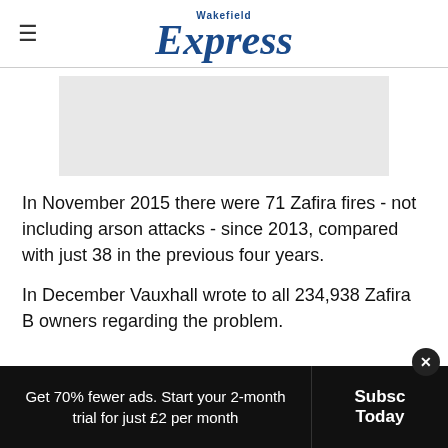Wakefield Express
[Figure (other): Grey advertisement placeholder rectangle]
In November 2015 there were 71 Zafira fires - not including arson attacks - since 2013, compared with just 38 in the previous four years.
In December Vauxhall wrote to all 234,938 Zafira B owners regarding the problem.
Get 70% fewer ads. Start your 2-month trial for just £2 per month | Subscribe Today